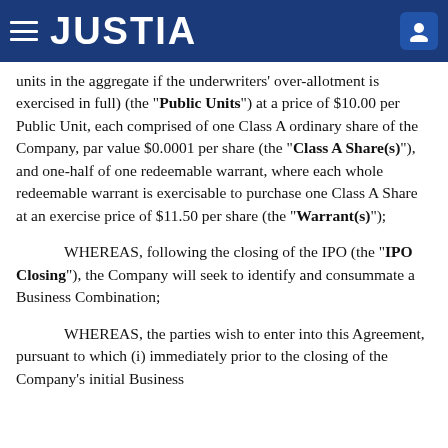JUSTIA
units in the aggregate if the underwriters' over-allotment is exercised in full) (the "Public Units") at a price of $10.00 per Public Unit, each comprised of one Class A ordinary share of the Company, par value $0.0001 per share (the "Class A Share(s)"), and one-half of one redeemable warrant, where each whole redeemable warrant is exercisable to purchase one Class A Share at an exercise price of $11.50 per share (the "Warrant(s)");
WHEREAS, following the closing of the IPO (the "IPO Closing"), the Company will seek to identify and consummate a Business Combination;
WHEREAS, the parties wish to enter into this Agreement, pursuant to which (i) immediately prior to the closing of the Company's initial Business